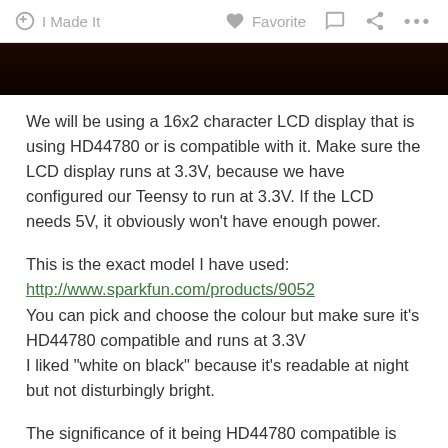I Made It   Favorite   ...
[Figure (photo): Dark image strip at top of page, showing a dark reddish-black background]
We will be using a 16x2 character LCD display that is using HD44780 or is compatible with it. Make sure the LCD display runs at 3.3V, because we have configured our Teensy to run at 3.3V. If the LCD needs 5V, it obviously won't have enough power.
This is the exact model I have used: http://www.sparkfun.com/products/9052
You can pick and choose the colour but make sure it's HD44780 compatible and runs at 3.3V
I liked "white on black" because it's readable at night but not disturbingly bright.
The significance of it being HD44780 compatible is